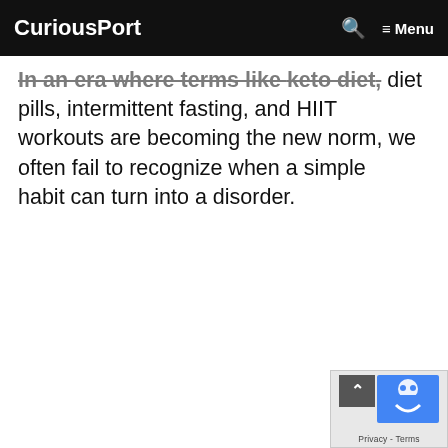CuriousPort
In an era where terms like keto diet, diet pills, intermittent fasting, and HIIT workouts are becoming the new norm, we often fail to recognize when a simple habit can turn into a disorder.
[Figure (logo): reCAPTCHA privacy badge with blue robot logo and Privacy - Terms text]